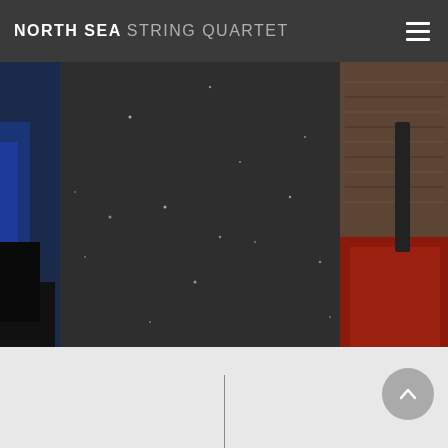NORTH SEA STRING QUARTET
[Figure (photo): Dark atmospheric photo showing two people against a dark background with star-like light particles. Left side shows a person in blue, right side shows a person in a brown/rust knit sweater holding a bow (string instrument player).]
[Figure (other): Scroll-to-top circular button with upward chevron arrow on light gray background area at bottom right]